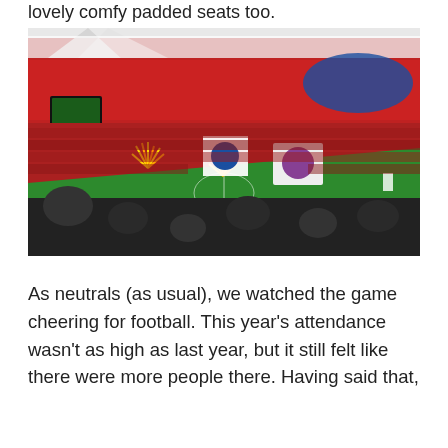lovely comfy padded seats too.
[Figure (photo): Interior view of Wembley Stadium filled with red-seated fans, fireworks on the pitch, large team banners/flags for Manchester City and West Ham United visible on the field, green pitch, white arch roof structure overhead.]
As neutrals (as usual), we watched the game cheering for football. This year's attendance wasn't as high as last year, but it still felt like there were more people there. Having said that,